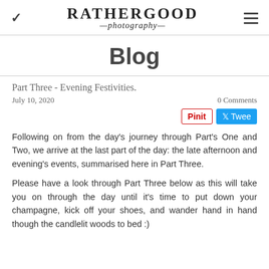RATHERGOOD photography
Blog
Part Three - Evening Festivities.
July 10, 2020    0 Comments
Following on from the day's journey through Part's One and Two, we arrive at the last part of the day: the late afternoon and evening's events, summarised here in Part Three.
Please have a look through Part Three below as this will take you on through the day until it's time to put down your champagne, kick off your shoes, and wander hand in hand though the candlelit woods to bed :)